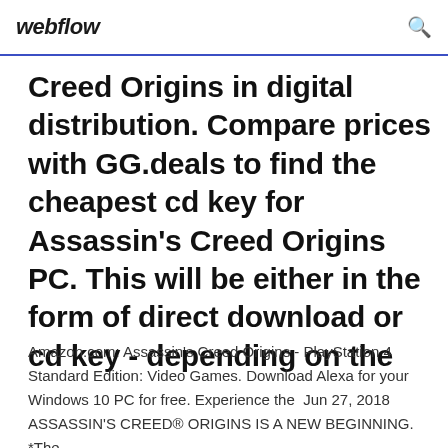webflow
Creed Origins in digital distribution. Compare prices with GG.deals to find the cheapest cd key for Assassin's Creed Origins PC. This will be either in the form of direct download or cd key - depending on the
Amazon.com: Assassin's Creed Origins - PlayStation 4 Standard Edition: Video Games. Download Alexa for your Windows 10 PC for free. Experience the  Jun 27, 2018 ASSASSIN'S CREED® ORIGINS IS A NEW BEGINNING. *The